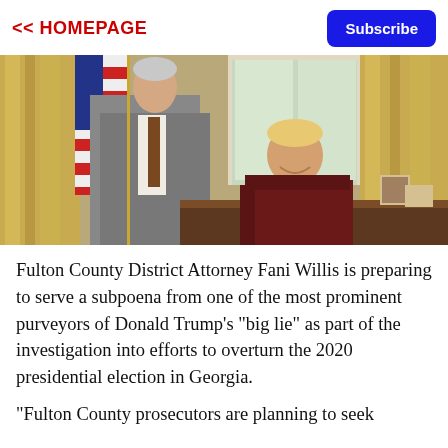<< HOMEPAGE
Subscribe
[Figure (photo): Two men posing in what appears to be the Oval Office. One man stands wearing a grey suit with a brown tie, next to an American flag. Another man sits in a leather chair behind a desk, wearing a dark suit and blue striped tie, smiling. Gold curtains visible in background.]
Fulton County District Attorney Fani Willis is preparing to serve a subpoena from one of the most prominent purveyors of Donald Trump's "big lie" as part of the investigation into efforts to overturn the 2020 presidential election in Georgia.
"Fulton County prosecutors are planning to seek